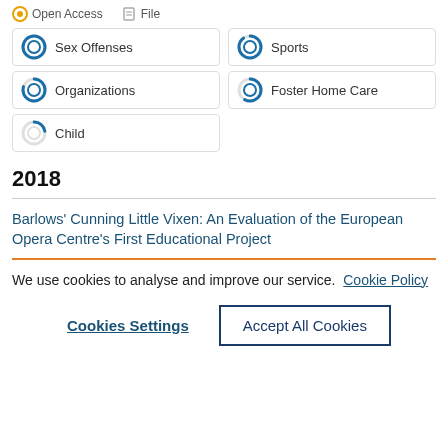[Figure (infographic): Open Access and File icons in top bar]
[Figure (infographic): Topic tags with donut chart progress indicators: Sex Offenses (full), Sports (nearly full), Organizations (mostly full), Foster Home Care (half), Child (small)]
2018
Barlows' Cunning Little Vixen: An Evaluation of the European Opera Centre's First Educational Project
We use cookies to analyse and improve our service. Cookie Policy
Cookies Settings | Accept All Cookies